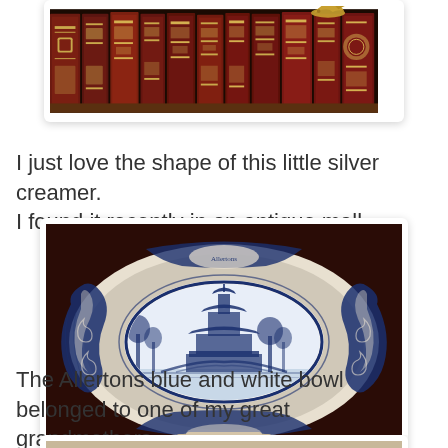[Figure (photo): Partial view of a shelf with old books with ornate gold-embossed spines and a small golden animal figurine on top, photographed against a dark background.]
I just love the shape of this little silver creamer. I found it recently in an antique mall.
[Figure (photo): An Allertons blue and white ceramic bowl with an oval shape featuring an ornate Chinese-style landscape scene in the center, with intricate decorative borders, photographed against a dark red-brown background.]
The Allertons blue and white bowl belonged to one of my great grandmothers.
[Figure (photo): Partial view of another photo card at the bottom of the page, cut off.]